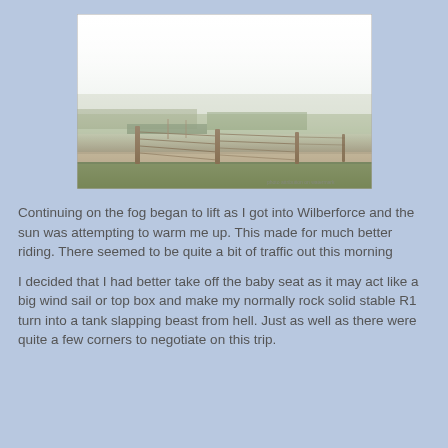[Figure (photo): A foggy rural landscape with fence posts running along a dirt road or track, green fields partially visible through dense mist/fog, taken from a vehicle or roadside vantage point.]
Continuing on the fog began to lift as I got into Wilberforce and the sun was attempting to warm me up. This made for much better riding. There seemed to be quite a bit of traffic out this morning
I decided that I had better take off the baby seat as it may act like a big wind sail or top box and make my normally rock solid stable R1 turn into a tank slapping beast from hell. Just as well as there were quite a few corners to negotiate on this trip.